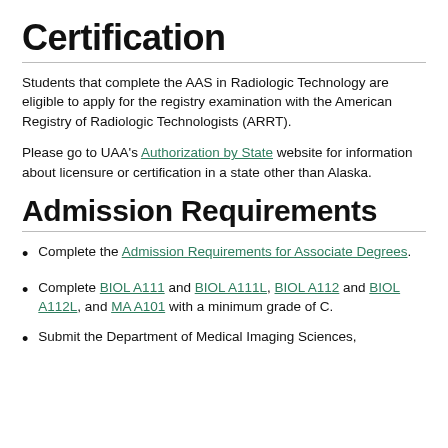Certification
Students that complete the AAS in Radiologic Technology are eligible to apply for the registry examination with the American Registry of Radiologic Technologists (ARRT).
Please go to UAA's Authorization by State website for information about licensure or certification in a state other than Alaska.
Admission Requirements
Complete the Admission Requirements for Associate Degrees.
Complete BIOL A111 and BIOL A111L, BIOL A112 and BIOL A112L, and MA A101 with a minimum grade of C.
Submit the Department of Medical Imaging Sciences,